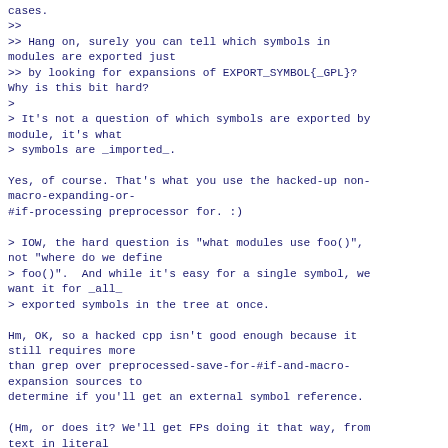cases.
>>
>> Hang on, surely you can tell which symbols in modules are exported just
>> by looking for expansions of EXPORT_SYMBOL{_GPL}? Why is this bit hard?
>
> It's not a question of which symbols are exported by module, it's what
> symbols are _imported_.

Yes, of course. That's what you use the hacked-up non-macro-expanding-or-
#if-processing preprocessor for. :)

> IOW, the hard question is "what modules use foo()", not "where do we define
> foo()".  And while it's easy for a single symbol, we want it for _all_
> exported symbols in the tree at once.

Hm, OK, so a hacked cpp isn't good enough because it still requires more
than grep over preprocessed-save-for-#if-and-macro-expansion sources to
determine if you'll get an external symbol reference.

(Hm, or does it? We'll get FPs doing it that way, from text in literal
strings, but how many? How many modules contain the
name of exported